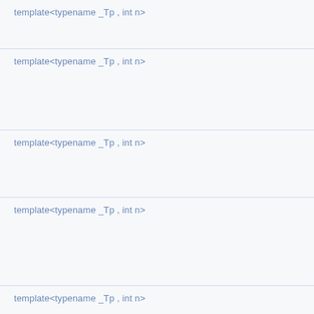template<typename _Tp , int n>
template<typename _Tp , int n>
template<typename _Tp , int n>
template<typename _Tp , int n>
template<typename _Tp , int n>
template<typename _Tp , int n>